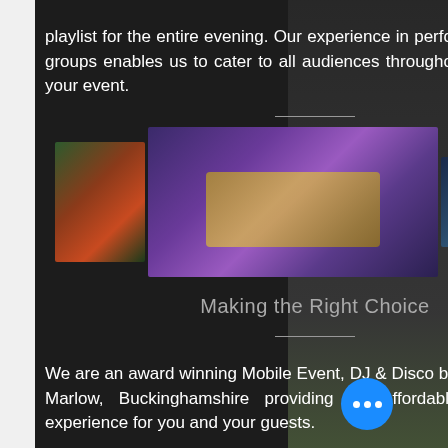playlist for the entire evening. Our experience in performing to diverse groups enables us to cater to all audiences throughout the course of your event.
[Figure (photo): Three photos of DJ equipment and event lighting: left - colorful stage lights in green and red, center - DJ mixer/turntable equipment with purple lighting, right - event venue with blue lighting]
Making the Right Choice
We are an award winning Mobile Event, DJ & Disco business based in Marlow, Buckinghamshire providing an affordable, high quality experience for you and your guests.